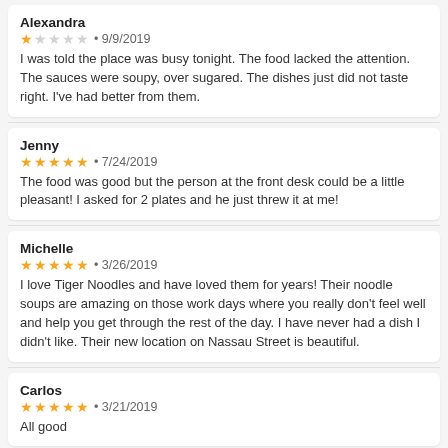Alexandra
★☆☆☆☆ • 9/9/2019
I was told the place was busy tonight. The food lacked the attention. The sauces were soupy, over sugared. The dishes just did not taste right. I've had better from them.
Jenny
★★★★★ • 7/24/2019
The food was good but the person at the front desk could be a little pleasant! I asked for 2 plates and he just threw it at me!
Michelle
★★★★★ • 3/26/2019
I love Tiger Noodles and have loved them for years! Their noodle soups are amazing on those work days where you really don't feel well and help you get through the rest of the day. I have never had a dish I didn't like. Their new location on Nassau Street is beautiful.
Carlos
★★★★★ • 3/21/2019
All good
Michael
★★★★☆ • 3/13/2019
No great Chinese restaurants in Princeton area, Tiger Noodles is